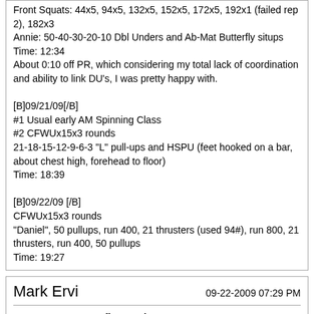Front Squats: 44x5, 94x5, 132x5, 152x5, 172x5, 192x1 (failed rep 2), 182x3
Annie: 50-40-30-20-10 Dbl Unders and Ab-Mat Butterfly situps
Time: 12:34
About 0:10 off PR, which considering my total lack of coordination and ability to link DU's, I was pretty happy with.

[B]09/21/09[/B]
#1 Usual early AM Spinning Class
#2 CFWUx15x3 rounds
21-18-15-12-9-6-3 "L" pull-ups and HSPU (feet hooked on a bar, about chest high, forehead to floor)
Time: 18:39

[B]09/22/09 [/B]
CFWUx15x3 rounds
"Daniel", 50 pullups, run 400, 21 thrusters (used 94#), run 800, 21 thrusters, run 400, 50 pullups
Time: 19:27
Mark Ervi
09-22-2009 07:29 PM
Re: Over 50 Crossfitters Sign In
Yesterday I bicycled 9 miles.
Then did
Shoulder Press 1-1-1-1-1
Push Press 3-3-3-3-3
Push Jerk 5-5-5-5-5